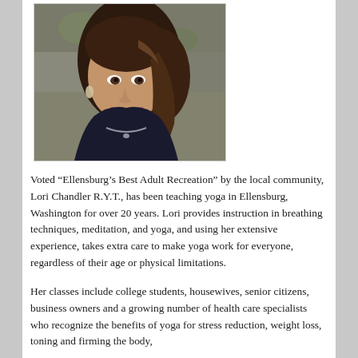[Figure (photo): Portrait photo of a woman with brown hair, smiling, wearing a dark jacket and necklace, photographed against a stone wall background.]
Voted “Ellensburg’s Best Adult Recreation” by the local community, Lori Chandler R.Y.T., has been teaching yoga in Ellensburg, Washington for over 20 years. Lori provides instruction in breathing techniques, meditation, and yoga, and using her extensive experience, takes extra care to make yoga work for everyone, regardless of their age or physical limitations.
Her classes include college students, housewives, senior citizens, business owners and a growing number of health care specialists who recognize the benefits of yoga for stress reduction, weight loss, toning and firming the body,